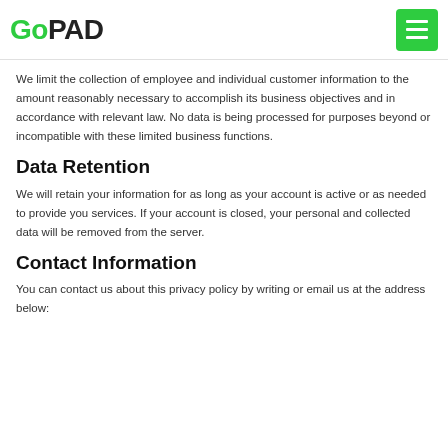GoPAD
We limit the collection of employee and individual customer information to the amount reasonably necessary to accomplish its business objectives and in accordance with relevant law. No data is being processed for purposes beyond or incompatible with these limited business functions.
Data Retention
We will retain your information for as long as your account is active or as needed to provide you services. If your account is closed, your personal and collected data will be removed from the server.
Contact Information
You can contact us about this privacy policy by writing or email us at the address below: